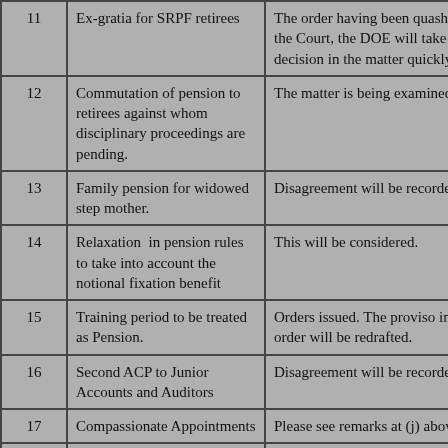|  | Subject | Remarks |
| --- | --- | --- |
| 11 | Ex-gratia for SRPF retirees | The order having been quashed by the Court, the DOE will take a decision in the matter quickly. |
| 12 | Commutation of pension to retirees against whom disciplinary proceedings are pending. | The matter is being examined. |
| 13 | Family pension for widowed step mother. | Disagreement will be recorded. |
| 14 | Relaxation  in pension rules to take into account the notional fixation benefit | This will be considered. |
| 15 | Training period to be treated as Pension. | Orders issued. The proviso in the order will be redrafted. |
| 16 | Second ACP to Junior Accounts and Auditors | Disagreement will be recorded |
| 17 | Compassionate Appointments | Please see remarks at (j) above. |
| 18 | Stepping up of the pay of | The High Court judgment in |